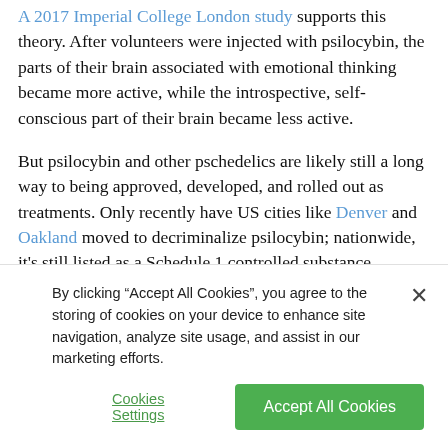A 2017 Imperial College London study supports this theory. After volunteers were injected with psilocybin, the parts of their brain associated with emotional thinking became more active, while the introspective, self-conscious part of their brain became less active.
But psilocybin and other pschedelics are likely still a long way to being approved, developed, and rolled out as treatments. Only recently have US cities like Denver and Oakland moved to decriminalize psilocybin; nationwide, it's still listed as a Schedule 1 controlled substance, meaning it has no medicinal properties under official US federal policy.
By clicking “Accept All Cookies”, you agree to the storing of cookies on your device to enhance site navigation, analyze site usage, and assist in our marketing efforts.